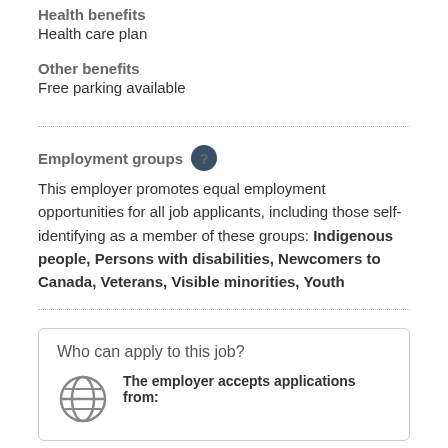Health benefits
Health care plan
Other benefits
Free parking available
Employment groups
This employer promotes equal employment opportunities for all job applicants, including those self-identifying as a member of these groups: Indigenous people, Persons with disabilities, Newcomers to Canada, Veterans, Visible minorities, Youth
Who can apply to this job?
The employer accepts applications from: